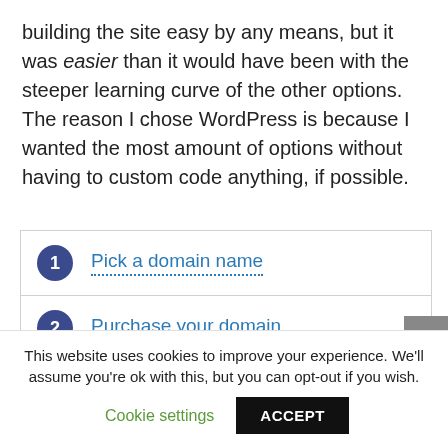building the site easy by any means, but it was easier than it would have been with the steeper learning curve of the other options. The reason I chose WordPress is because I wanted the most amount of options without having to custom code anything, if possible.
1 Pick a domain name
2 Purchase your domain
This website uses cookies to improve your experience. We'll assume you're ok with this, but you can opt-out if you wish. Cookie settings ACCEPT